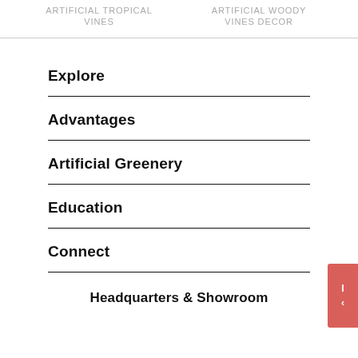ARTIFICIAL TROPICAL VINES | ARTIFICIAL WOODY VINES DECOR
Explore
Advantages
Artificial Greenery
Education
Connect
Headquarters & Showroom